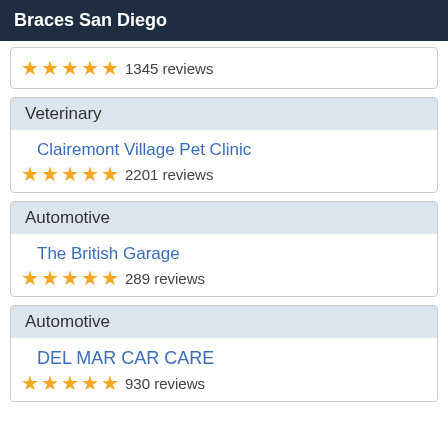Braces San Diego
1345 reviews (partial card, top cut off)
Veterinary
Clairemont Village Pet Clinic
2201 reviews
Automotive
The British Garage
289 reviews
Automotive
DEL MAR CAR CARE
930 reviews